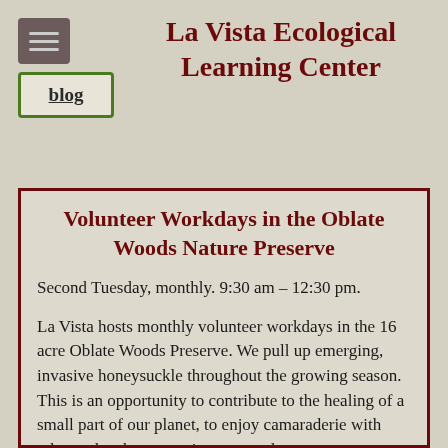La Vista Ecological Learning Center
Volunteer Workdays in the Oblate Woods Nature Preserve
Second Tuesday, monthly. 9:30 am – 12:30 pm.
La Vista hosts monthly volunteer workdays in the 16 acre Oblate Woods Preserve. We pull up emerging, invasive honeysuckle throughout the growing season. This is an opportunity to contribute to the healing of a small part of our planet, to enjoy camaraderie with others who share your interest, and